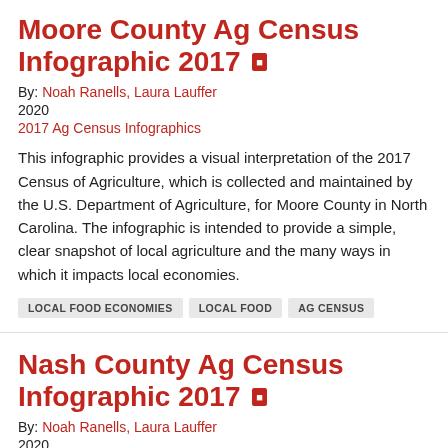Moore County Ag Census Infographic 2017
By: Noah Ranells, Laura Lauffer
2020
2017 Ag Census Infographics
This infographic provides a visual interpretation of the 2017 Census of Agriculture, which is collected and maintained by the U.S. Department of Agriculture, for Moore County in North Carolina. The infographic is intended to provide a simple, clear snapshot of local agriculture and the many ways in which it impacts local economies.
LOCAL FOOD ECONOMIES
LOCAL FOOD
AG CENSUS
Nash County Ag Census Infographic 2017
By: Noah Ranells, Laura Lauffer
2020
2017 Ag Census Infographics